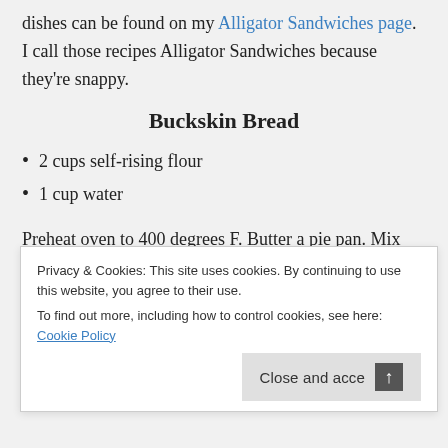dishes can be found on my Alligator Sandwiches page. I call those recipes Alligator Sandwiches because they're snappy.
Buckskin Bread
2 cups self-rising flour
1 cup water
Preheat oven to 400 degrees F. Butter a pie pan. Mix water and flour. Put dough in pie pan. Pat down fairly flat with water-coated hands. Bake about 30 minutes, or until risen and brown. That's all there is to it! At first taste, you may think it's kind of bland, but it is excellent with soups and stews, or warm and slathered with butter.
Privacy & Cookies: This site uses cookies. By continuing to use this website, you agree to their use. To find out more, including how to control cookies, see here: Cookie Policy
Close and accept